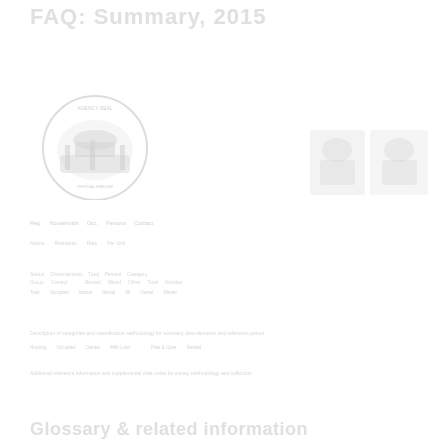FAQ: Summary, 2015
[Figure (logo): Government agency seal/logo with circular emblem, dark toned]
[Figure (photo): Small photo top right area, faded/light]
Small label and data rows with category headers and values, very faint
Additional data rows and descriptive text, faint gray
Glossary & related information